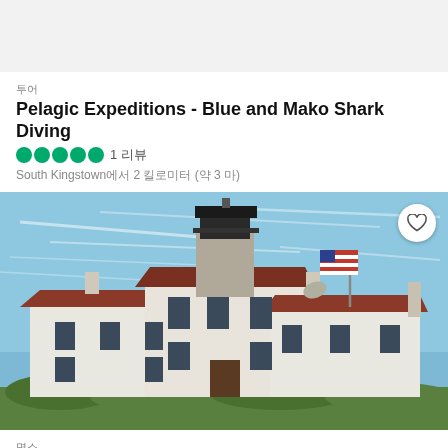투어
Pelagic Expeditions - Blue and Mako Shark Diving
1 리뷰
South Kingstown에서 2 킬로미터 (약 3 마)
[Figure (photo): Beavertail Lighthouse building with a black lighthouse tower on top, red roof, white walls, American flag, and blue sky with wispy clouds]
명소
Beavertail Lighthouse and Park
424 리뷰